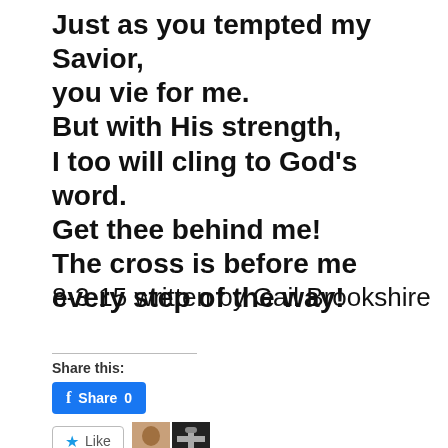Just as you tempted my Savior,
you vie for me.
But with His strength,
I too will cling to God's word.
Get thee behind me!
The cross is before me
every step of the way!
8-3-15 written by Gail Brookshire
Share this:
[Figure (screenshot): Facebook Share button showing 'Share 0' in blue with Facebook logo]
[Figure (screenshot): Like button with star icon, and two blogger avatar thumbnails]
2 bloggers like this.